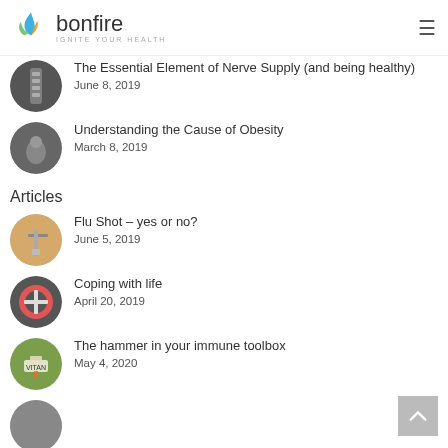bonfire IGNITE YOUR HEALTH
The Essential Element of Nerve Supply (and being healthy)
June 8, 2019
Understanding the Cause of Obesity
March 8, 2019
Articles
Flu Shot – yes or no?
June 5, 2019
Coping with life
April 20, 2019
The hammer in your immune toolbox
May 4, 2020